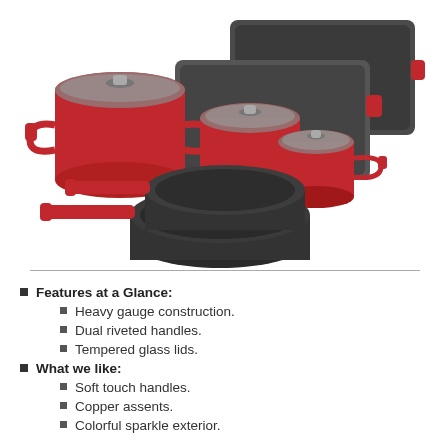[Figure (photo): A set of red and gray non-stick cookware including pots with glass lids, frying pans, and baking trays arranged together.]
Features at a Glance:
Heavy gauge construction.
Dual riveted handles.
Tempered glass lids.
What we like:
Soft touch handles.
Copper assents.
Colorful sparkle exterior.